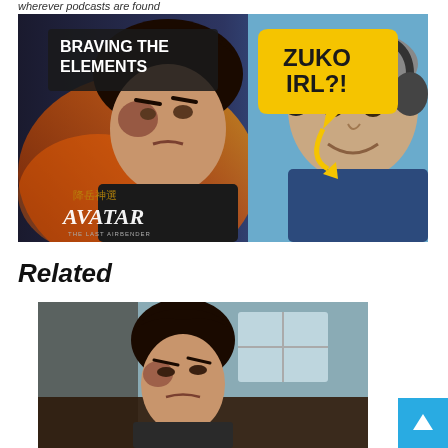wherever podcasts are found
[Figure (screenshot): Thumbnail for 'Braving the Elements' podcast episode featuring anime character Zuko on the left and a real man with headphones on the right, with text 'ZUKO IRL?!' and Avatar: The Last Airbender logo.]
Related
[Figure (screenshot): Screenshot from Avatar: The Last Airbender animated series showing Zuko character indoors.]